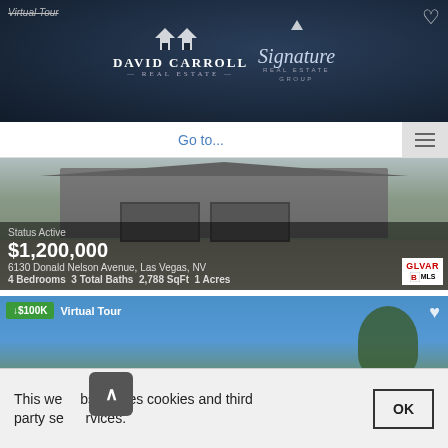[Figure (screenshot): Real estate website header with David Carroll Real Estate and Signature Real Estate Group logos on dark background]
Virtual Tour
Go to...
[Figure (photo): House exterior photo showing garage and driveway with desert landscaping]
Status Active
$1,200,000
6130 Donald Nelson Avenue, Las Vegas, NV
4 Bedrooms  3 Total Baths  2,788 SqFt  1 Acres
[Figure (photo): House exterior photo with blue sky and trees, second listing]
↓$100K  Virtual Tour
This website uses cookies and third party services.
OK